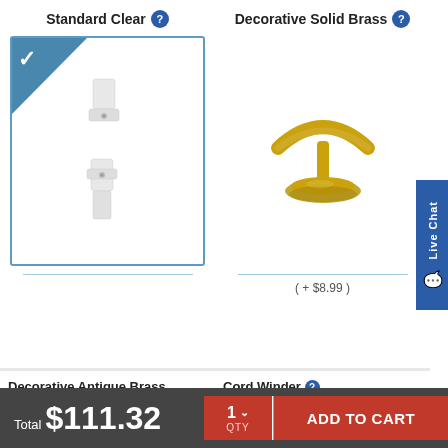Standard Clear
Decorative Solid Brass
[Figure (photo): Standard Clear blind tilit hardware - two white plastic pieces, selected with blue checkmark corner]
[Figure (photo): Decorative Solid Brass tilt wand - gold colored mushroom-shaped hardware piece]
( + $8.99 )
Decorative Antique Brass
Cord Winder
Total $111.32
1 QTY
ADD TO CART